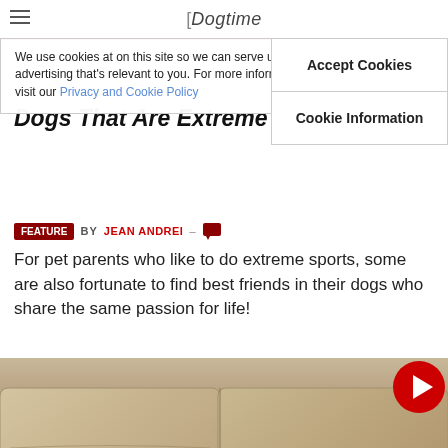Dogtime
We use cookies at on this site so we can serve up content and advertising that's relevant to you. For more information, please visit our Privacy and Cookie Policy
Accept Cookies
Cookie Information
Dogs That Are Extreme Sports Natural
BY JEAN ANDREI
For pet parents who like to do extreme sports, some are also fortunate to find best friends in their dogs who share the same passion for life!
[Figure (photo): A brown dachshund dog lying on its back stretched out across a beige couch, appearing to be sleeping or relaxing]